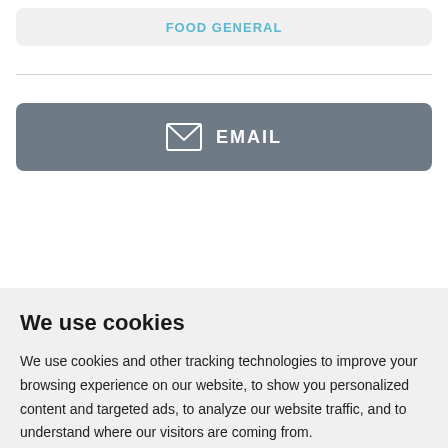FOOD GENERAL
[Figure (other): Email button with envelope icon]
We use cookies
We use cookies and other tracking technologies to improve your browsing experience on our website, to show you personalized content and targeted ads, to analyze our website traffic, and to understand where our visitors are coming from.